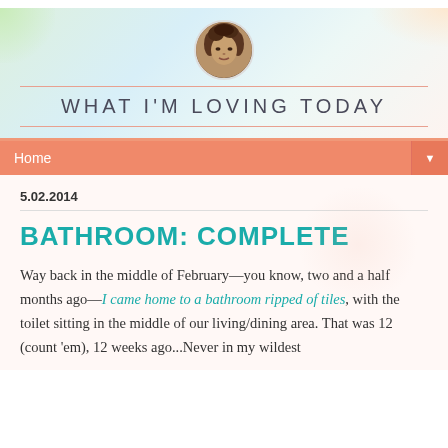[Figure (illustration): Blog header banner with soft pastel gradient background (greens, blues, pinks). Contains a circular avatar photo of a woman with curly hair, and the blog title 'WHAT I'M LOVING TODAY' in uppercase spaced letters, flanked by thin orange-pink horizontal rules.]
WHAT I'M LOVING TODAY
Home
5.02.2014
BATHROOM: COMPLETE
Way back in the middle of February—you know, two and a half months ago—I came home to a bathroom ripped of tiles, with the toilet sitting in the middle of our living/dining area. That was 12 (count 'em), 12 weeks ago...Never in my wildest